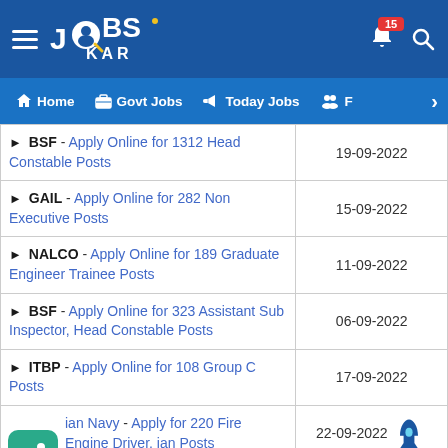JOBS KAR - Home | Govt Jobs | Today Jobs | F
BSF - Apply Online for 1312 Head Constable Posts | 19-09-2022
GAIL - Apply Online for 282 Non Executive Posts | 15-09-2022
NALCO - Apply Online for 189 Graduate Engineer Trainee Posts | 11-09-2022
BSF - Apply Online for 323 Assistant Sub Inspector, Head Constable Posts | 06-09-2022
ITBP - Apply Online for 108 Group C Posts | 17-09-2022
Indian Navy - Apply for 220 Fire Engine Driver, Civilian Posts | 22-09-2022
IITM Pune - Apply Online for 23 Scientist C